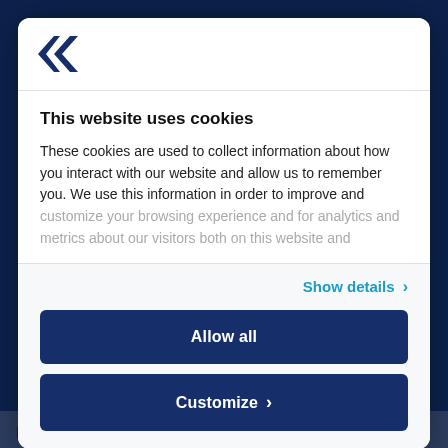[Figure (logo): Organization logo with arrow/chevron icon in dark blue]
This website uses cookies
These cookies are used to collect information about how you interact with our website and allow us to remember you. We use this information in order to improve and customize your browsing experience and for analytics and metrics about our visitors both on this website and
Show details ›
Allow all
Customize ›
private sector for public use. our collaboration with